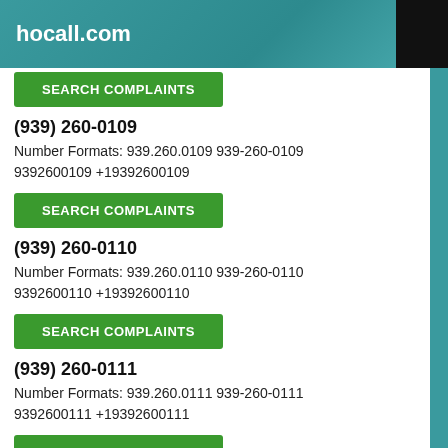hocall.com
SEARCH COMPLAINTS
(939) 260-0109
Number Formats: 939.260.0109 939-260-0109 9392600109 +19392600109
SEARCH COMPLAINTS
(939) 260-0110
Number Formats: 939.260.0110 939-260-0110 9392600110 +19392600110
SEARCH COMPLAINTS
(939) 260-0111
Number Formats: 939.260.0111 939-260-0111 9392600111 +19392600111
SEARCH COMPLAINTS
(939) 260-0112
Number Formats: 939.260.0112 939-260-0112 9392600112 +19392600112